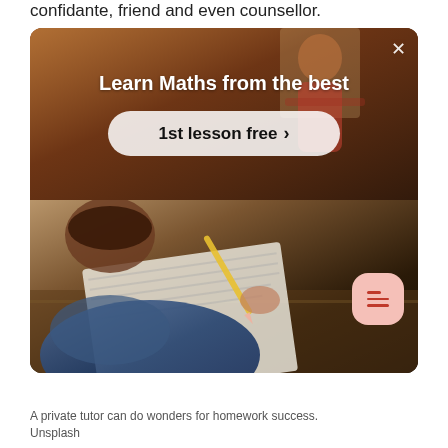confidante, friend and even counsellor.
[Figure (screenshot): Advertisement banner for maths tutoring showing 'Learn Maths from the best' with '1st lesson free >' button, overlaid on photos of a teacher and a child writing at a desk. Has a close (X) button in top right corner.]
A private tutor can do wonders for homework success. Unsplash